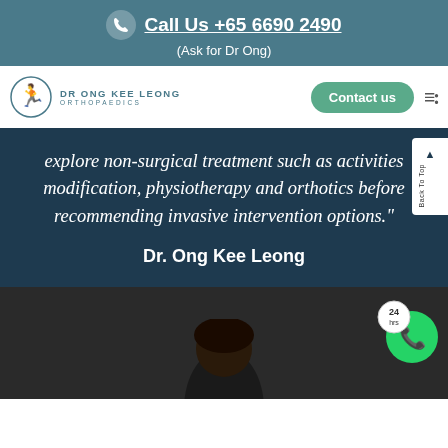Call Us +65 6690 2490
(Ask for Dr Ong)
[Figure (logo): Dr Ong Kee Leong Orthopaedics logo with navigation bar including Contact us button]
explore non-surgical treatment such as activities modification, physiotherapy and orthotics before recommending invasive intervention options."
Dr. Ong Kee Leong
[Figure (photo): Dark background section with a person's head/hair visible at bottom center, and a WhatsApp 24hrs badge icon at bottom right]